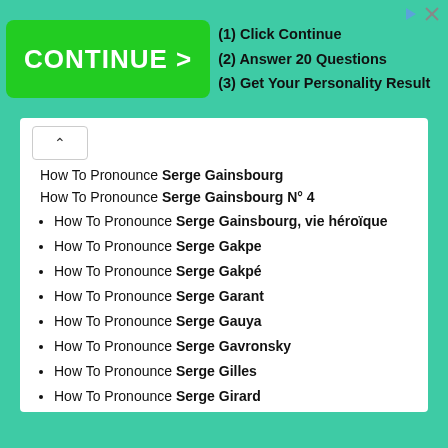[Figure (screenshot): Green advertisement banner with CONTINUE > button and three steps: (1) Click Continue, (2) Answer 20 Questions, (3) Get Your Personality Result]
How To Pronounce Serge Gainsbourg
How To Pronounce Serge Gainsbourg N° 4
How To Pronounce Serge Gainsbourg, vie héroïque
How To Pronounce Serge Gakpe
How To Pronounce Serge Gakpé
How To Pronounce Serge Garant
How To Pronounce Serge Gauya
How To Pronounce Serge Gavronsky
How To Pronounce Serge Gilles
How To Pronounce Serge Girard
How To Pronounce Serge Gnabry
How To Pronounce Serge Godard